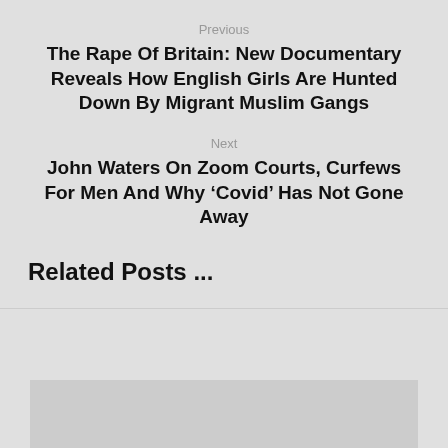Previous
The Rape Of Britain: New Documentary Reveals How English Girls Are Hunted Down By Migrant Muslim Gangs
Next
John Waters On Zoom Courts, Curfews For Men And Why ‘Covid’ Has Not Gone Away
Related Posts ...
[Figure (photo): Image placeholder at bottom of page]